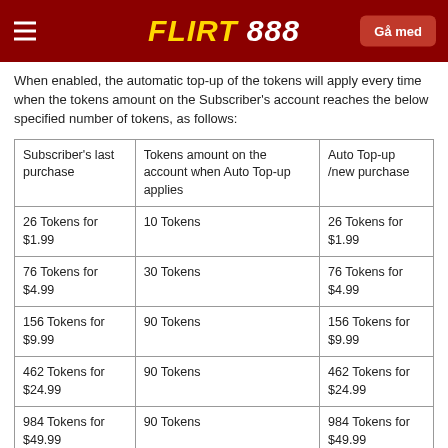FLIRT 888 — Gå med
When enabled, the automatic top-up of the tokens will apply every time when the tokens amount on the Subscriber's account reaches the below specified number of tokens, as follows:
| Subscriber's last purchase | Tokens amount on the account when Auto Top-up applies | Auto Top-up /new purchase |
| --- | --- | --- |
| 26 Tokens for $1.99 | 10 Tokens | 26 Tokens for $1.99 |
| 76 Tokens for $4.99 | 30 Tokens | 76 Tokens for $4.99 |
| 156 Tokens for $9.99 | 90 Tokens | 156 Tokens for $9.99 |
| 462 Tokens for $24.99 | 90 Tokens | 462 Tokens for $24.99 |
| 984 Tokens for $49.99 | 90 Tokens | 984 Tokens for $49.99 |
| 1260 Tokens for $65.00 | 90 Tokens | 1260 Tokens for $65.00 |
| 1480 Tokens for $74.99 | 90 Tokens | 1480 Tokens for $74.99 |
| 3000 Tokens for $150.00 | 90 Tokens | 3000 Tokens for $150.00 |